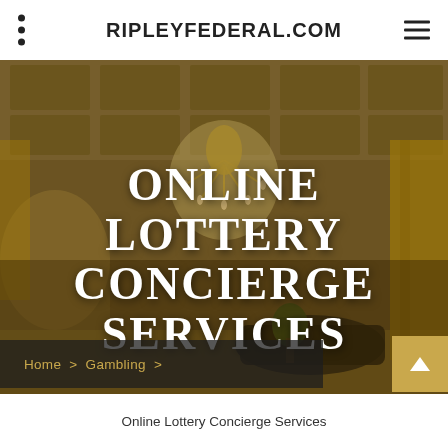RIPLEYFEDERAL.COM
[Figure (photo): Elegant grand hall interior with ornate gold ceiling, crystal chandelier, arched doorways, and yellow drapes — luxury casino or hotel ballroom setting]
ONLINE LOTTERY CONCIERGE SERVICES
Home > Gambling >
Online Lottery Concierge Services